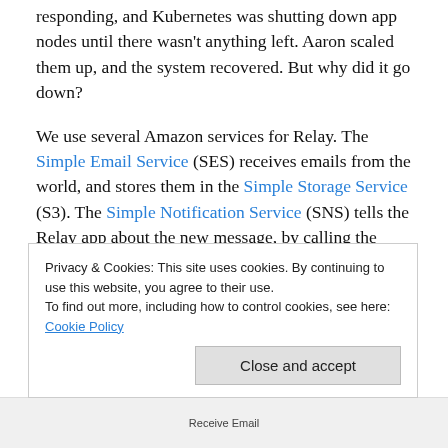responding, and Kubernetes was shutting down app nodes until there wasn't anything left. Aaron scaled them up, and the system recovered. But why did it go down?
We use several Amazon services for Relay. The Simple Email Service (SES) receives emails from the world, and stores them in the Simple Storage Service (S3). The Simple Notification Service (SNS) tells the Relay app about the new message, by calling the /emails/sns-inbound endpoint. To process the request, the Relay app then fetches the email from S3, analyzes it, forwards an email using SES, and then tells SNS that it is done. If
Privacy & Cookies: This site uses cookies. By continuing to use this website, you agree to their use.
To find out more, including how to control cookies, see here: Cookie Policy
Close and accept
Receive Email